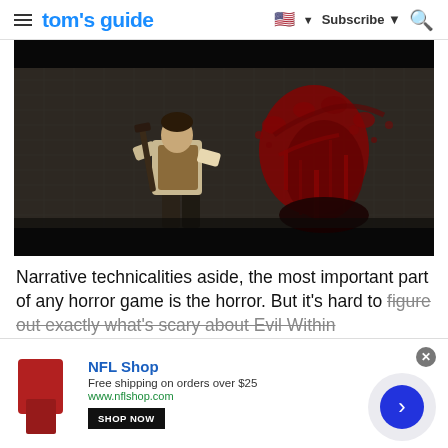tom's guide | Subscribe
[Figure (screenshot): Video game screenshot from The Evil Within showing a character with a weapon facing a wall covered in blood splatters and handprints in a tiled room]
Narrative technicalities aside, the most important part of any horror game is the horror. But it's hard to figure out exactly what's scary about Evil Within
[Figure (infographic): Advertisement banner for NFL Shop: Free shipping on orders over $25, www.nflshop.com, SHOP NOW button, with a circular arrow button on the right side]